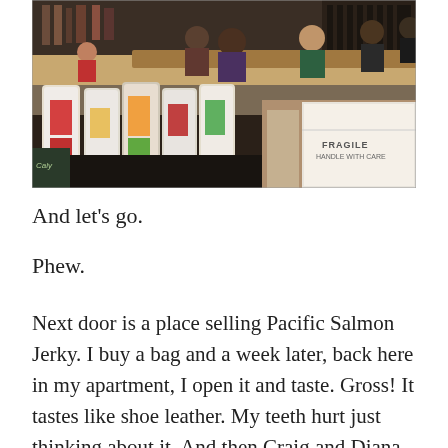[Figure (photo): Interior of a store or market with people at a counter, bags and merchandise displayed on a dark table in the foreground, and staff serving customers in the background. A large white box labeled 'FRAGILE HANDLE WITH CARE' is visible on the right side.]
And let's go.
Phew.
Next door is a place selling Pacific Salmon Jerky. I buy a bag and a week later, back here in my apartment, I open it and taste. Gross! It tastes like shoe leather. My teeth hurt just thinking about it. And then Craig and Diana come along and they take a taste and they're like, “Mmmm! This is delicious!” And I’m like, “No it’s not.” And they’re like,